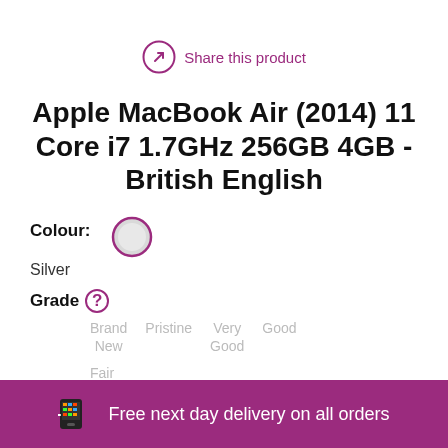Share this product
Apple MacBook Air (2014) 11 Core i7 1.7GHz 256GB 4GB - British English
Colour:
Silver
Grade ? Brand New   Pristine   Very Good   Good   Fair
Free next day delivery on all orders